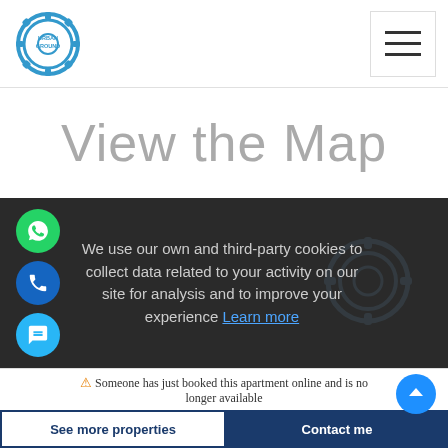[Figure (logo): Urban Ground logo: gear/cog icon in blue with text 'URBAN GROUND' inside]
[Figure (other): Hamburger menu button (three horizontal lines)]
View the Map
We use our own and third-party cookies to collect data related to your activity on our site for analysis and to improve your experience Learn more
⚠ Someone has just booked this apartment online and is no longer available
See more properties
Contact me